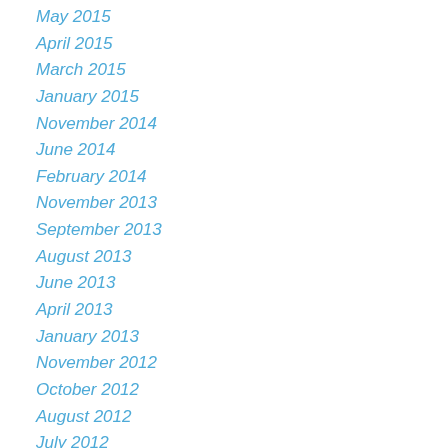May 2015
April 2015
March 2015
January 2015
November 2014
June 2014
February 2014
November 2013
September 2013
August 2013
June 2013
April 2013
January 2013
November 2012
October 2012
August 2012
July 2012
June 2012
May 2012
April 2012